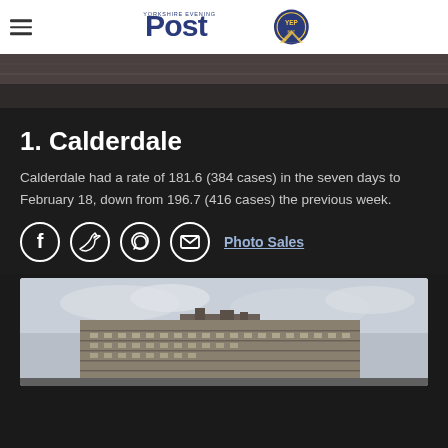Yorkshire Evening Post
[Figure (photo): Top partial image - dark rooftop/architectural surface]
1. Calderdale
Calderdale had a rate of 181.6 (384 cases) in the seven days to February 18, down from 196.7 (416 cases) the previous week.
[Figure (infographic): Social share icons: Facebook, Twitter, WhatsApp, Email, and Photo Sales link]
[Figure (photo): Bottom partial photo of a large multi-storey building under overcast sky]